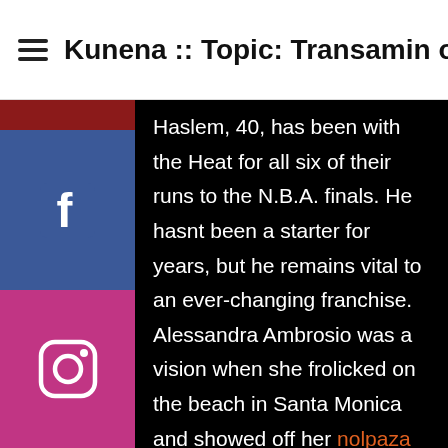Kunena :: Topic: Transamin on...
Haslem, 40, has been with the Heat for all six of their runs to the N.B.A. finals. He hasnt been a starter for years, but he remains vital to an ever-changing franchise. Alessandra Ambrosio was a vision when she frolicked on the beach in Santa Monica and showed off her nolpaza 37.5mg for order fab figure in a barely-there red bikini on Saturday. Sir Benjamin Slade, 74, has put 600-year-old Maunsel House, in North Newton, Somerset, up for rent - after putting it on the market last